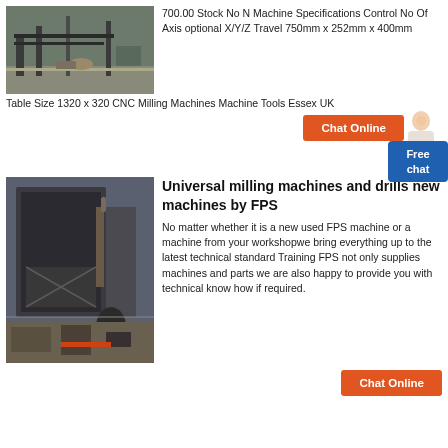[Figure (photo): Industrial facility interior with workers and machinery, overhead crane structure visible]
700.00 Stock No N Machine Specifications Control No Of Axis optional X/Y/Z Travel 750mm x 252mm x 400mm
Table Size 1320 x 320 CNC Milling Machines Machine Tools Essex UK
[Figure (other): Chat Online button with customer service representative icon]
[Figure (other): Free chat blue box overlay]
[Figure (photo): Large industrial dust collector or filtration unit outdoors, dark metal structure with pipes]
Universal milling machines and drills new machines by FPS
No matter whether it is a new used FPS machine or a machine from your workshopwe bring everything up to the latest technical standard Training FPS not only supplies machines and parts we are also happy to provide you with technical know how if required.
[Figure (other): Chat Online button at bottom]